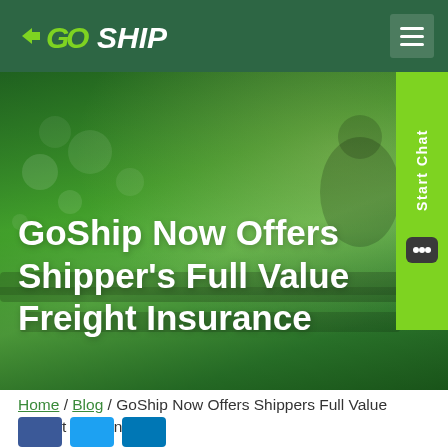GoShip
[Figure (photo): Hero banner with green-tinted photo of a warehouse/factory worker on a conveyor belt, overlaid with the title text 'GoShip Now Offers Shippers Full Value Freight Insurance']
GoShip Now Offers Shippers Full Value Freight Insurance
Home / Blog / GoShip Now Offers Shippers Full Value Freight Insurance